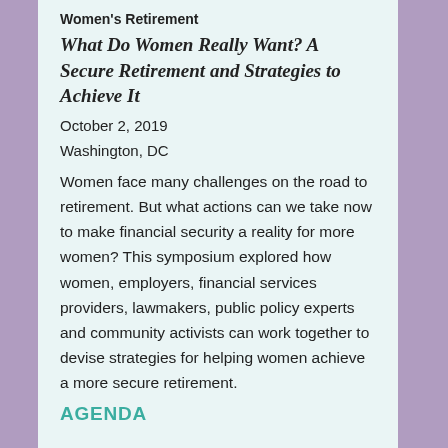Women's Retirement
What Do Women Really Want? A Secure Retirement and Strategies to Achieve It
October 2, 2019
Washington, DC
Women face many challenges on the road to retirement. But what actions can we take now to make financial security a reality for more women? This symposium explored how women, employers, financial services providers, lawmakers, public policy experts and community activists can work together to devise strategies for helping women achieve a more secure retirement.
AGENDA